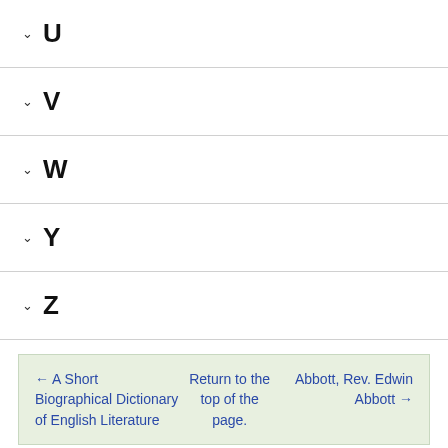U
V
W
Y
Z
← A Short Biographical Dictionary of English Literature   Return to the top of the page.   Abbott, Rev. Edwin Abbott →